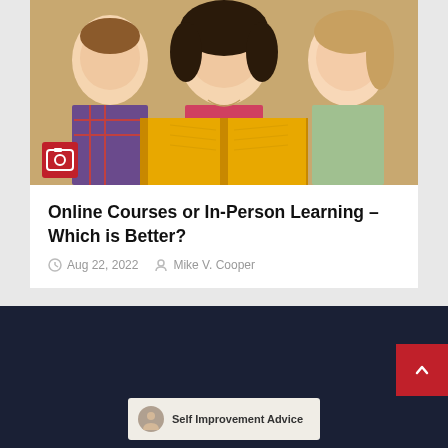[Figure (photo): Three young people smiling and reading a yellow book together]
Online Courses or In-Person Learning – Which is Better?
Aug 22, 2022  Mike V. Cooper
[Figure (other): Self Improvement Advice footer widget]